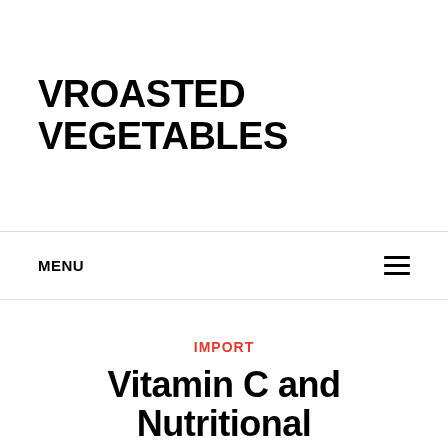VROASTED VEGETABLES
MENU
IMPORT
Vitamin C and Nutritional